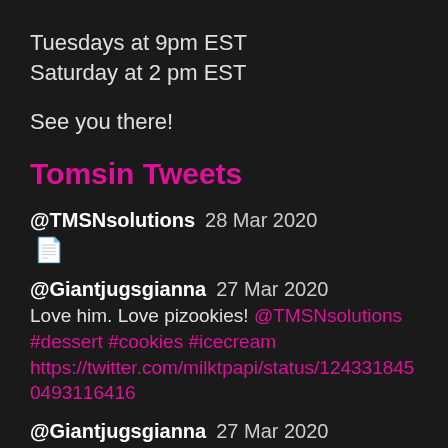Tuesdays at 9pm EST
Saturday at 2 pm EST
See you there!
Tomsin Tweets
@TMSNsolutions  28 Mar 2020
[image icon]
@Giantjugsgianna  27 Mar 2020
Love him. Love pizookies! @TMSNsolutions #dessert #cookies #icecream https://twitter.com/milktpapi/status/1243318450493116416
@Giantjugsgianna  27 Mar 2020